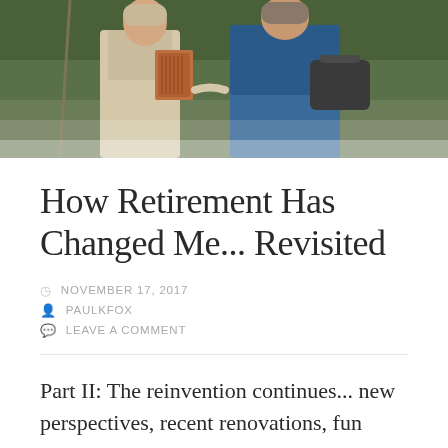[Figure (photo): Two elderly people standing outdoors in a garden setting with green foliage in the background. One person wears a beige/cream jacket and holds a book, the other wears a blue outfit.]
How Retirement Has Changed Me... Revisited
NOVEMBER 17, 2017
PAULKFOX
LEAVE A COMMENT
Part II: The reinvention continues... new perspectives, recent renovations, fun pathways, and more technology